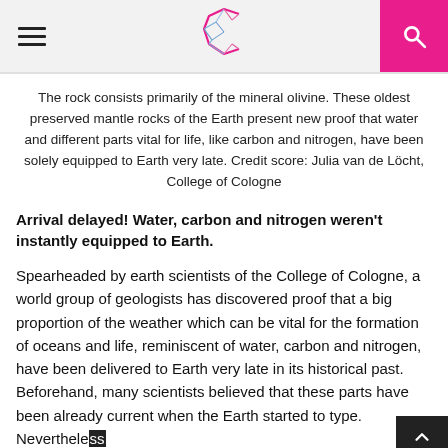The rock consists primarily of the mineral olivine. These oldest preserved mantle rocks of the Earth present new proof that water and different parts vital for life, like carbon and nitrogen, have been solely equipped to Earth very late. Credit score: Julia van de Löcht, College of Cologne
Arrival delayed! Water, carbon and nitrogen weren't instantly equipped to Earth.
Spearheaded by earth scientists of the College of Cologne, a world group of geologists has discovered proof that a big proportion of the weather which can be vital for the formation of oceans and life, reminiscent of water, carbon and nitrogen, have been delivered to Earth very late in its historical past. Beforehand, many scientists believed that these parts have been already current when the Earth started to type. Neverthele… geological investigations have now proven that many of the